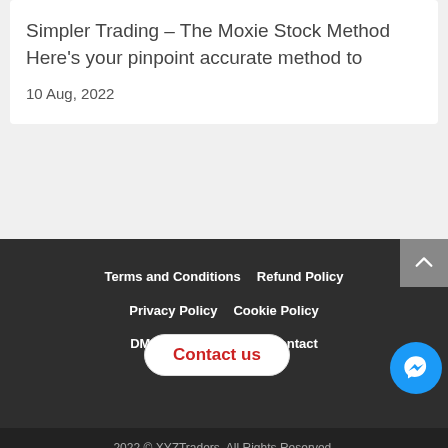Simpler Trading – The Moxie Stock Method  Here's your pinpoint accurate method to
10 Aug, 2022
Terms and Conditions   Refund Policy   Privacy Policy   Cookie Policy   DMCA Policy   FAQ   Contact
2022 © XYZTraders. All Rights Reserved.